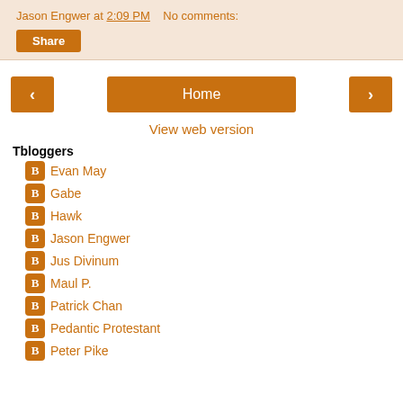Jason Engwer at 2:09 PM   No comments:
Share
[Figure (other): Navigation buttons: left arrow, Home, right arrow]
View web version
Tbloggers
Evan May
Gabe
Hawk
Jason Engwer
Jus Divinum
Maul P.
Patrick Chan
Pedantic Protestant
Peter Pike